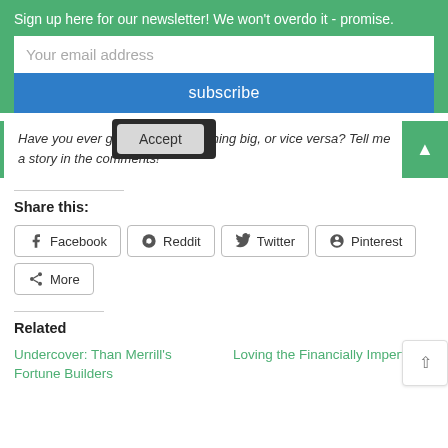Sign up here for our newsletter! We won't overdo it - promise.
Your email address
subscribe
Have you ever given up on something big, or vice versa? Tell me a story in the comments!
Accept
Share this:
Facebook
Reddit
Twitter
Pinterest
More
Related
Undercover: Than Merrill's Fortune Builders
Loving the Financially Imperfect